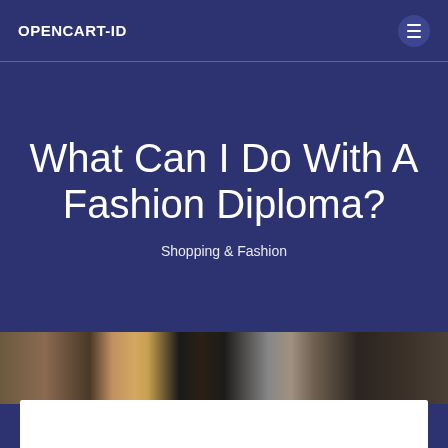OPENCART-ID
What Can I Do With A Fashion Diploma?
Shopping & Fashion
[Figure (photo): Fashion photo strip showing people with shopping bags and fashionable clothing]